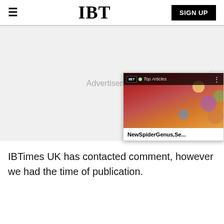IBT
[Figure (screenshot): Advertisement placeholder area with IBT Top Articles popup widget showing a David Bowie-like illustrated image and headline 'NewSpiderGenus,Se...']
IBTimes UK has contacted comment, however we had the time of publication.